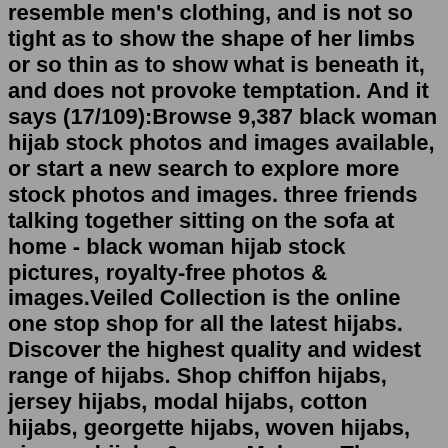resemble men's clothing, and is not so tight as to show the shape of her limbs or so thin as to show what is beneath it, and does not provoke temptation. And it says (17/109):Browse 9,387 black woman hijab stock photos and images available, or start a new search to explore more stock photos and images. three friends talking together sitting on the sofa at home - black woman hijab stock pictures, royalty-free photos & images.Veiled Collection is the online one stop shop for all the latest hijabs. Discover the highest quality and widest range of hijabs. Shop chiffon hijabs, jersey hijabs, modal hijabs, cotton hijabs, georgette hijabs, woven hijabs, viscose hijabs & more.Makeup. The sophistication of an all black outfit gives you the space to contrast it with a little bit of fun with makeup. Bring on the bright colors and make your skin shine. 5. The veil. Play around a bit with your hijab by choosing different types and materials that would compliment the outfit and add edge to it.Description. The black Chiffon hijab is lightweight & made from